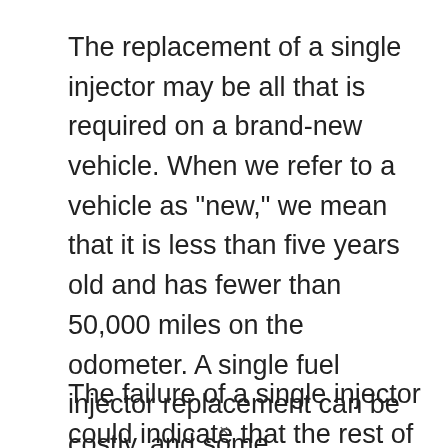The replacement of a single injector may be all that is required on a brand-new vehicle. When we refer to a vehicle as "new," we mean that it is less than five years old and has fewer than 50,000 miles on the odometer. A single fuel injector replacement can be costly, and some manufacturers don't make it easy to do so.
The failure of a single injector could indicate that the rest of the engine's injectors are also old and about to fail if the car is older than 10 years or
[Figure (other): Advertisement banner for Pure Earth charity. Black background. Left: white bold text 'We believe the global pollution crisis can be solved.' with 'can be solved.' in green. Middle: small white text 'In a world where pollution doesn't stop at borders, we can all be part of the solution.' with 'JOIN US.' in orange/yellow. Right: Pure Earth logo with orange diamond shape and white bold text 'PURE EARTH'.]
×